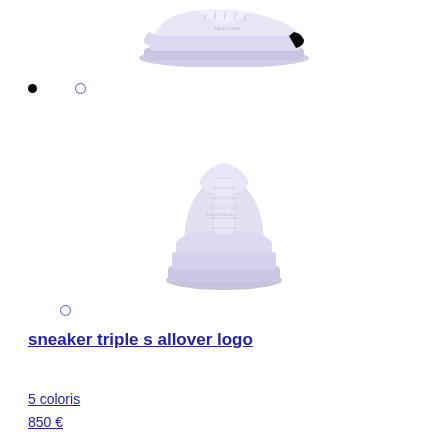[Figure (photo): White sneaker shown from side/top angle - Balenciaga Triple S allover logo sneaker in lavender/white]
[Figure (photo): White/lavender sneaker shown from front angle - Balenciaga Triple S allover logo sneaker]
sneaker triple s allover logo
5 coloris
850 €